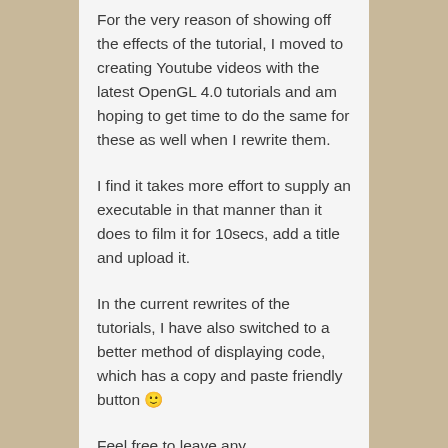For the very reason of showing off the effects of the tutorial, I moved to creating Youtube videos with the latest OpenGL 4.0 tutorials and am hoping to get time to do the same for these as well when I rewrite them.
I find it takes more effort to supply an executable in that manner than it does to film it for 10secs, add a title and upload it.
In the current rewrites of the tutorials, I have also switched to a better method of displaying code, which has a copy and paste friendly button 🙂
Feel free to leave any